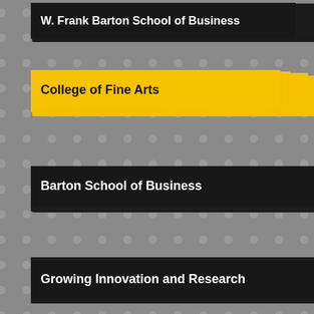W. Frank Barton School of Business
College of Fine Arts
Engineering
Barton School of Business
Growing Innovation and Research
Elliott School of Communication
WSU Foundation
first generation
Entrepreneurship
Digital Transformation
NIAR
student
Arts